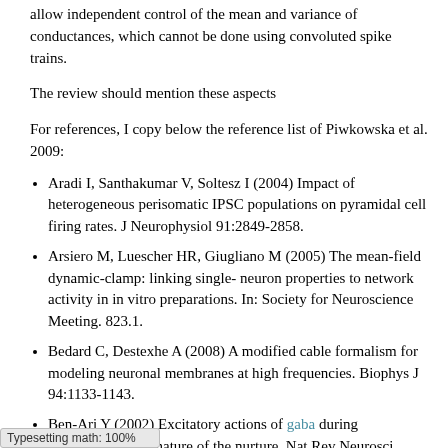allow independent control of the mean and variance of conductances, which cannot be done using convoluted spike trains.
The review should mention these aspects
For references, I copy below the reference list of Piwkowska et al. 2009:
Aradi I, Santhakumar V, Soltesz I (2004) Impact of heterogeneous perisomatic IPSC populations on pyramidal cell firing rates. J Neurophysiol 91:2849-2858.
Arsiero M, Luescher HR, Giugliano M (2005) The mean-field dynamic-clamp: linking single- neuron properties to network activity in in vitro preparations. In: Society for Neuroscience Meeting. 823.1.
Bedard C, Destexhe A (2008) A modified cable formalism for modeling neuronal membranes at high frequencies. Biophys J 94:1133-1143.
Ben-Ari Y (2002) Excitatory actions of gaba during development: the nature of the nurture. Nat Rev Neurosci 3:728-739.
Berecki G, Zegers JG, Verkerk AO, Bhuiyan ZA, de Jonge B, Wilders R, van Ginneken ACG (2005) HERG
Typesetting math: 100%